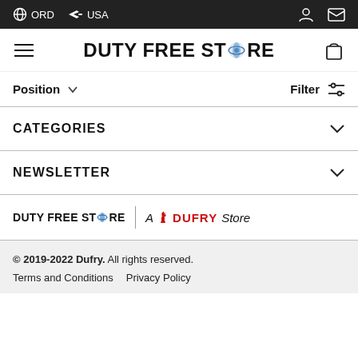ORD  USA
DUTY FREE STORE
Position  Filter
CATEGORIES
NEWSLETTER
DUTY FREE STORE  |  A DUFRY Store
© 2019-2022 Dufry. All rights reserved.
Terms and Conditions  Privacy Policy